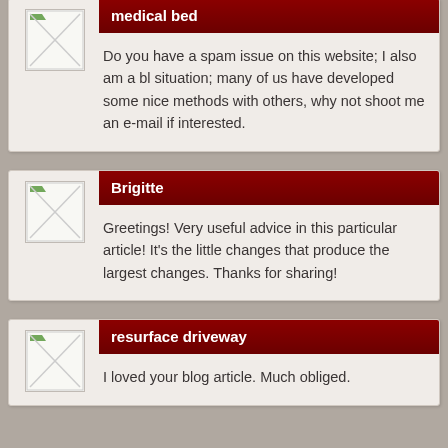medical bed
Do you have a spam issue on this website; I also am a bl situation; many of us have developed some nice methods with others, why not shoot me an e-mail if interested.
Brigitte
Greetings! Very useful advice in this particular article! It's the little changes that produce the largest changes. Thanks for sharing!
resurface driveway
I loved your blog article. Much obliged.